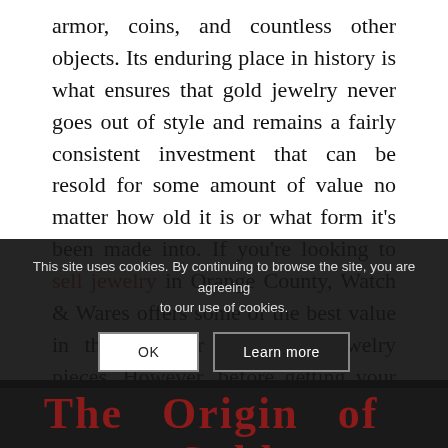armor, coins, and countless other objects. Its enduring place in history is what ensures that gold jewelry never goes out of style and remains a fairly consistent investment that can be resold for some amount of value no matter how old it is or what form it’s been made into. If you’re looking to sell jewelry in Orange County, Watch & Wares offers some of the best value in the area for your gold jewelry pieces. However, before getting your jewelry appraised by anyone, it’s always best to know its true value for yourself.
This site uses cookies. By continuing to browse the site, you are agreeing to our use of cookies.
The Origin of Gold